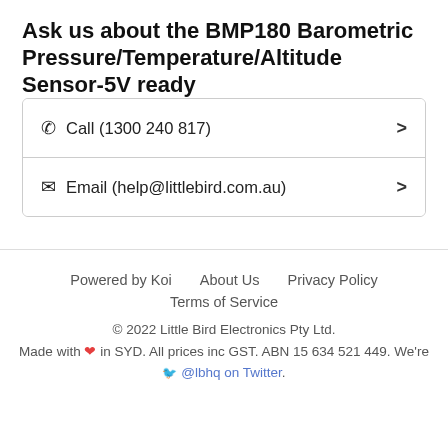Ask us about the BMP180 Barometric Pressure/Temperature/Altitude Sensor- 5V ready
📞 Call (1300 240 817)
✉ Email (help@littlebird.com.au)
Powered by Koi   About Us   Privacy Policy
Terms of Service
© 2022 Little Bird Electronics Pty Ltd.
Made with ❤ in SYD. All prices inc GST. ABN 15 634 521 449. We're 🐦 @lbhq on Twitter.